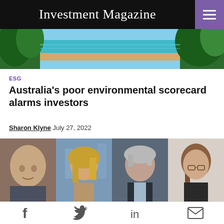Investment Magazine
[Figure (photo): Aerial beach and coastal landscape with turquoise water and green trees]
ESG
Australia's poor environmental scorecard alarms investors
Sharon Klyne July 27, 2022
[Figure (photo): Four professionals shown in headshots: a bald man, a blonde woman, an older silver-haired man, and a woman with glasses]
Facebook, Twitter, LinkedIn, Email social share icons